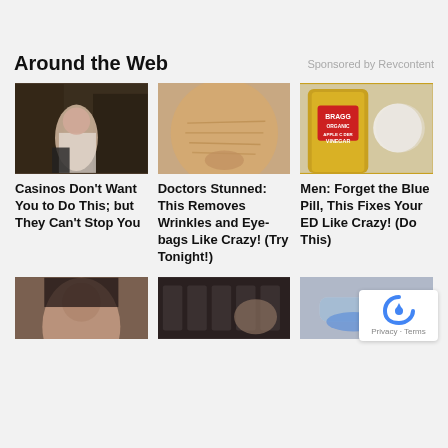Around the Web
Sponsored by Revcontent
[Figure (photo): Woman sitting in a casino]
Casinos Don't Want You to Do This; but They Can't Stop You
[Figure (photo): Close-up of elderly person's wrinkled face]
Doctors Stunned: This Removes Wrinkles and Eye-bags Like Crazy! (Try Tonight!)
[Figure (photo): Bragg Organic Apple Cider Vinegar bottle with pill]
Men: Forget the Blue Pill, This Fixes Your ED Like Crazy! (Do This)
[Figure (photo): Woman with dark hair closeup]
[Figure (photo): Slot machines in casino]
[Figure (photo): Blue pill on fingers]